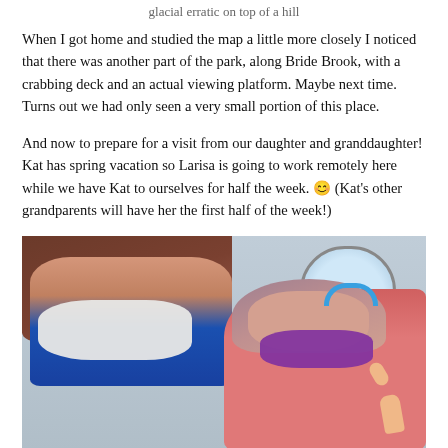glacial erratic on top of a hill
When I got home and studied the map a little more closely I noticed that there was another part of the park, along Bride Brook, with a crabbing deck and an actual viewing platform. Maybe next time. Turns out we had only seen a very small portion of this place.
And now to prepare for a visit from our daughter and granddaughter! Kat has spring vacation so Larisa is going to work remotely here while we have Kat to ourselves for half the week. 😊 (Kat's other grandparents will have her the first half of the week!)
[Figure (photo): A woman in a blue jacket wearing a white KN95 mask takes a selfie with a young girl wearing a purple mask and teal headphones on an airplane. The girl is giving a thumbs up.]